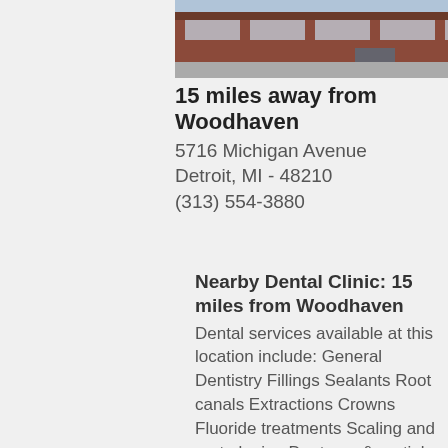[Figure (photo): Exterior photo of a brick building — dental clinic at 5716 Michigan Avenue, Detroit]
15 miles away from Woodhaven
5716 Michigan Avenue
Detroit, MI - 48210
(313) 554-3880
Nearby Dental Clinic: 15 miles from Woodhaven
Dental services available at this location include: General Dentistry Fillings Sealants Root canals Extractions Crowns Fluoride treatments Scaling and root planing Dentures & partial dentures Orthodontics (some restrictions apply) Oral Surgery Orthodontics Dental Hours: Mon – Fri: 8am – 5 email website donate
See Clinic Full Details